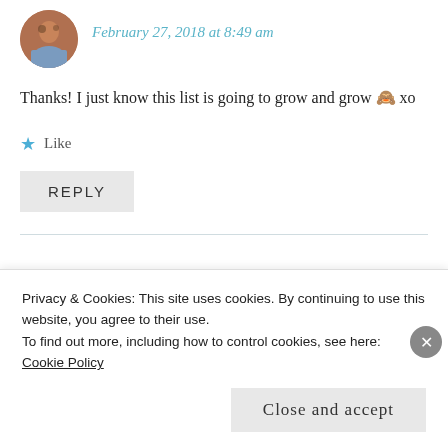[Figure (photo): Circular avatar photo of a person with a dog, wearing a blue patterned top]
February 27, 2018 at 8:49 am
Thanks! I just know this list is going to grow and grow 🙈 xo
★ Like
REPLY
[Figure (photo): Small broken image placeholder for avatar of ANNE (@BASIFPA_DID)]
ANNE (@BASIFPA_DID)
Privacy & Cookies: This site uses cookies. By continuing to use this website, you agree to their use.
To find out more, including how to control cookies, see here: Cookie Policy
Close and accept